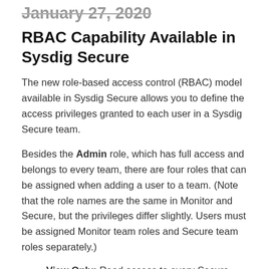January 27, 2020
RBAC Capability Available in Sysdig Secure
The new role-based access control (RBAC) model available in Sysdig Secure allows you to define the access privileges granted to each user in a Sysdig Secure team.
Besides the Admin role, which has full access and belongs to every team, there are four roles that can be assigned when adding a user to a team. (Note that the role names are the same in Monitor and Secure, but the privileges differ slightly. Users must be assigned Monitor team roles and Secure team roles separately.)
View Only: Read access to every Secure feature within the team scope. A View Only user cannot modify runtime policies, image scanning policies,